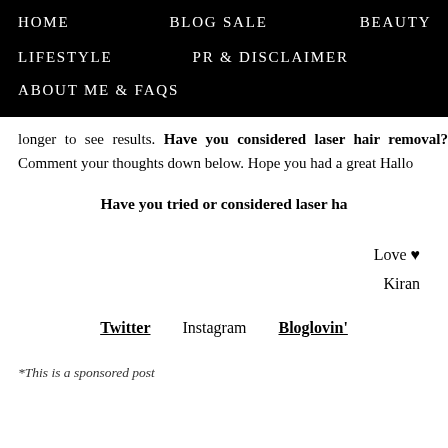HOME   BLOG SALE   BEAUTY   LIFESTYLE   PR & DISCLAIMER   ABOUT ME & FAQs
longer to see results. Have you considered laser hair removal? Comment your thoughts down below. Hope you had a great Hallo
Have you tried or considered laser ha
Love ♥
Kiran
Twitter   Instagram   Bloglovin'
*This is a sponsored post